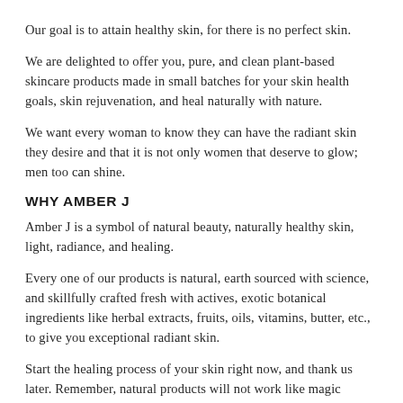Our goal is to attain healthy skin, for there is no perfect skin.
We are delighted to offer you, pure, and clean plant-based skincare products made in small batches for your skin health goals, skin rejuvenation, and heal naturally with nature.
We want every woman to know they can have the radiant skin they desire and that it is not only women that deserve to glow; men too can shine.
WHY AMBER J
Amber J is a symbol of natural beauty, naturally healthy skin, light, radiance, and healing.
Every one of our products is natural, earth sourced with science, and skillfully crafted fresh with actives, exotic botanical ingredients like herbal extracts, fruits, oils, vitamins, butter, etc., to give you exceptional radiant skin.
Start the healing process of your skin right now, and thank us later. Remember, natural products will not work like magic overnight, so let your skin heal gradually because every skin is